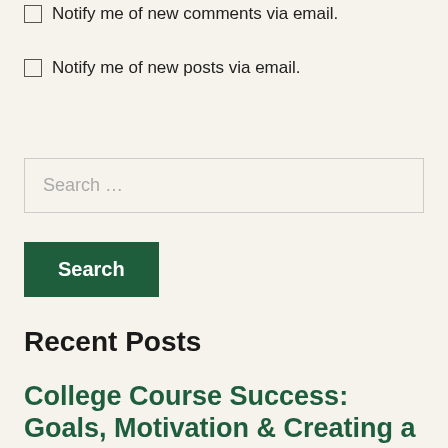Notify me of new comments via email.
Notify me of new posts via email.
Search …
Search
Recent Posts
College Course Success: Goals, Motivation & Creating a